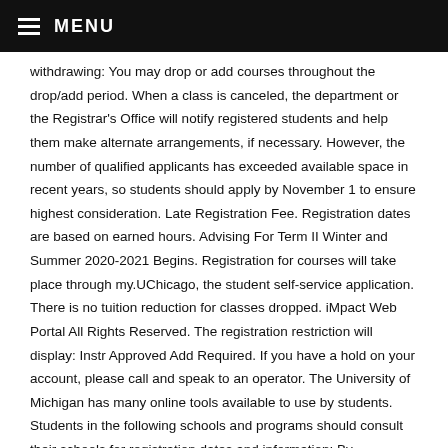MENU
withdrawing: You may drop or add courses throughout the drop/add period. When a class is canceled, the department or the Registrar's Office will notify registered students and help them make alternate arrangements, if necessary. However, the number of qualified applicants has exceeded available space in recent years, so students should apply by November 1 to ensure highest consideration. Late Registration Fee. Registration dates are based on earned hours. Advising For Term II Winter and Summer 2020-2021 Begins. Registration for courses will take place through my.UChicago, the student self-service application. There is no tuition reduction for classes dropped. iMpact Web Portal All Rights Reserved. The registration restriction will display: Instr Approved Add Required. If you have a hold on your account, please call and speak to an operator. The University of Michigan has many online tools available to use by students. Students in the following schools and programs should consult their schools for registration dates and information: By registering for classes at Eastern Michigan University, you accept responsibility for reading and conforming to all policies, procedures, required